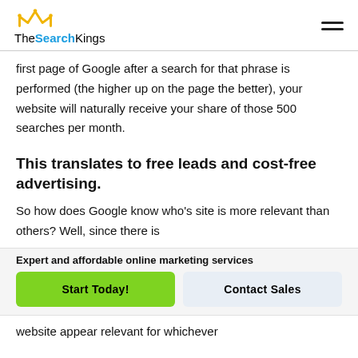TheSearchKings
first page of Google after a search for that phrase is performed (the higher up on the page the better), your website will naturally receive your share of those 500 searches per month.
This translates to free leads and cost-free advertising.
So how does Google know who's site is more relevant than others? Well, since there is
Expert and affordable online marketing services
Start Today!   Contact Sales
website appear relevant for whichever